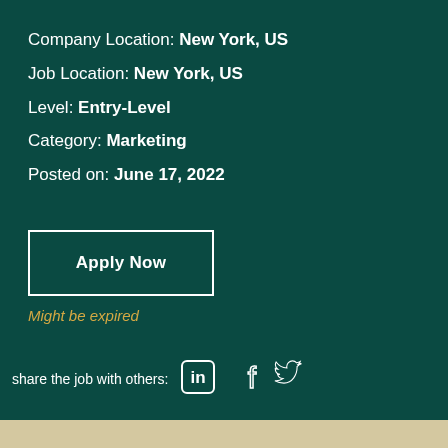Company Location: New York, US
Job Location: New York, US
Level: Entry-Level
Category: Marketing
Posted on: June 17, 2022
Apply Now
Might be expired
share the job with others: